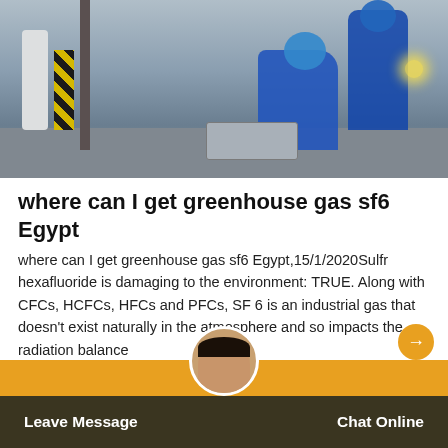[Figure (photo): Workers in blue coveralls working on industrial equipment in a facility with yellow hazard tape and white cylinders visible.]
where can I get greenhouse gas sf6 Egypt
where can I get greenhouse gas sf6 Egypt,15/1/2020Sulfr hexafluoride is damaging to the environment: TRUE. Along with CFCs, HCFCs, HFCs and PFCs, SF 6 is an industrial gas that doesn't exist naturally in the atmosphere and so impacts the radiation balance